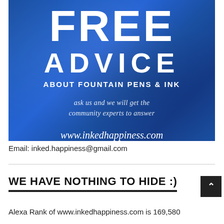[Figure (illustration): Blue textured background advertisement image with white text reading FREE ADVICE ABOUT FOUNTAIN PENS & INK, ask us and we will get the community experts to answer, www.inkedhappiness.com]
Email: inked.happiness@gmail.com
WE HAVE NOTHING TO HIDE :)
Alexa Rank of www.inkedhappiness.com is 169,580